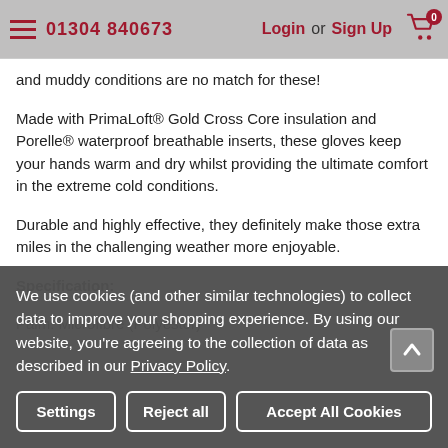01304 840673  Login or Sign Up
and muddy conditions are no match for these!
Made with PrimaLoft® Gold Cross Core insulation and Porelle® waterproof breathable inserts, these gloves keep your hands warm and dry whilst providing the ultimate comfort in the extreme cold conditions.
Durable and highly effective, they definitely make those extra miles in the challenging weather more enjoyable.
Specification:
Palm: Microfibre (Polyester)
We use cookies (and other similar technologies) to collect data to improve your shopping experience. By using our website, you're agreeing to the collection of data as described in our Privacy Policy.